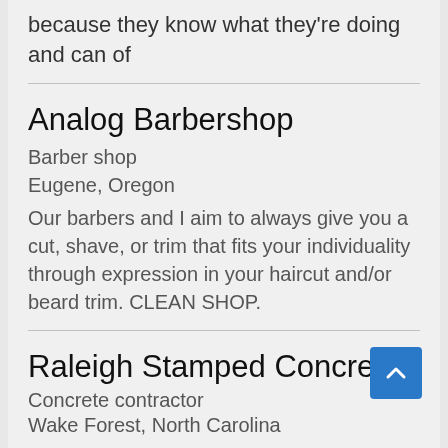because they know what they're doing and can of
Analog Barbershop
Barber shop
Eugene, Oregon
Our barbers and I aim to always give you a cut, shave, or trim that fits your individuality through expression in your haircut and/or beard trim. CLEAN SHOP.
Raleigh Stamped Concrete
Concrete contractor
Wake Forest, North Carolina